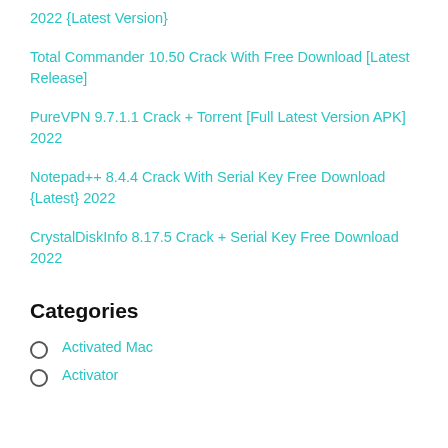2022 {Latest Version}
Total Commander 10.50 Crack With Free Download [Latest Release]
PureVPN 9.7.1.1 Crack + Torrent [Full Latest Version APK] 2022
Notepad++ 8.4.4 Crack With Serial Key Free Download {Latest} 2022
CrystalDiskInfo 8.17.5 Crack + Serial Key Free Download 2022
Categories
Activated Mac
Activator